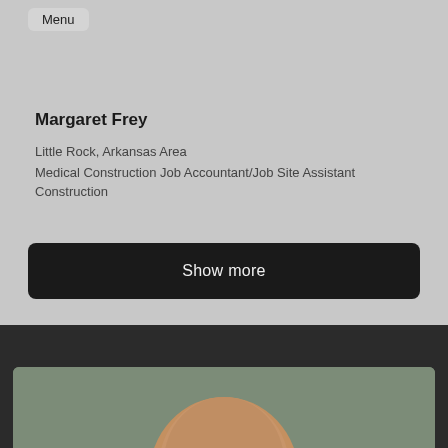Menu
Margaret Frey
Little Rock, Arkansas Area
Medical Construction Job Accountant/Job Site Assistant
Construction
Show more
[Figure (photo): Partial profile photo showing the top of a person's head against a muted green-gray background]